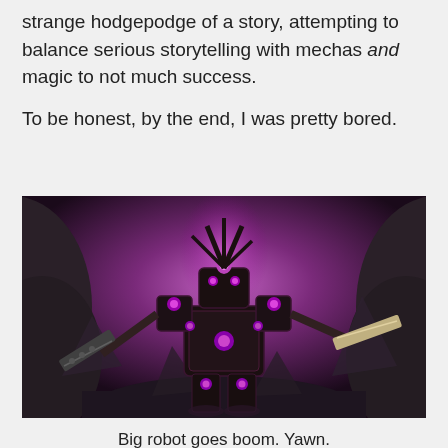strange hodgepodge of a story, attempting to balance serious storytelling with mechas and magic to not much success.

To be honest, by the end, I was pretty bored.
[Figure (illustration): A dark mecha/robot with purple glowing orbs standing in a rocky cavern with a purple-lit background and blade-like weapons extended to the sides.]
Big robot goes boom. Yawn.